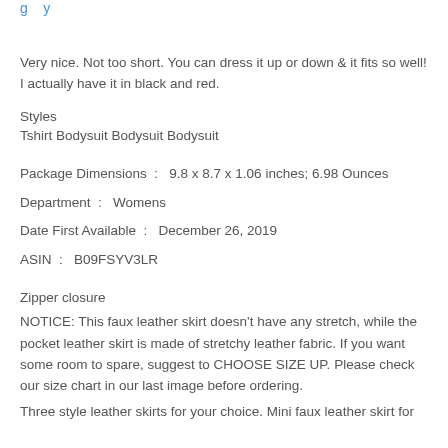Very nice. Not too short. You can dress it up or down & it fits so well! I actually have it in black and red.
Styles
Tshirt Bodysuit Bodysuit Bodysuit
Package Dimensions  :  9.8 x 8.7 x 1.06 inches; 6.98 Ounces
Department  :  Womens
Date First Available  :  December 26, 2019
ASIN  :  B09FSYV3LR
Zipper closure
NOTICE: This faux leather skirt doesn't have any stretch, while the pocket leather skirt is made of stretchy leather fabric. If you want some room to spare, suggest to CHOOSE SIZE UP. Please check our size chart in our last image before ordering.
Three style leather skirts for your choice. Mini faux leather skirt for